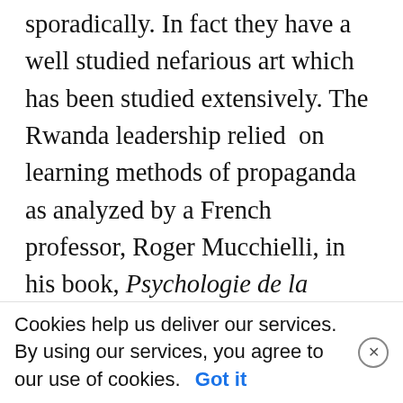sporadically. In fact they have a well studied nefarious art which has been studied extensively. The Rwanda leadership relied on learning methods of propaganda as analyzed by a French professor, Roger Mucchielli, in his book, Psychologie de la publicité et de la propagande. This included persuading the majority population that the opponent intends to use terror against them; once convinced this formerly “honest people” will take whatever measures they think necessary for legitimate self-defense. Genocidal actions of deprivation, violation, and killing become acceptable to those who would never have considered them
Cookies help us deliver our services. By using our services, you agree to our use of cookies. Got it